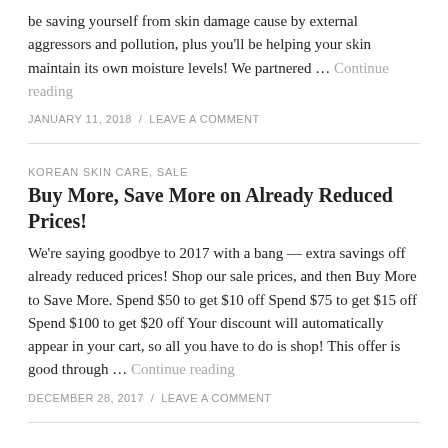be saving yourself from skin damage cause by external aggressors and pollution, plus you'll be helping your skin maintain its own moisture levels! We partnered … Continue reading
JANUARY 11, 2018  /  LEAVE A COMMENT
KOREAN SKIN CARE, SALE
Buy More, Save More on Already Reduced Prices!
We're saying goodbye to 2017 with a bang — extra savings off already reduced prices! Shop our sale prices, and then Buy More to Save More. Spend $50 to get $10 off Spend $75 to get $15 off Spend $100 to get $20 off Your discount will automatically appear in your cart, so all you have to do is shop! This offer is good through … Continue reading
DECEMBER 28, 2017  /  LEAVE A COMMENT